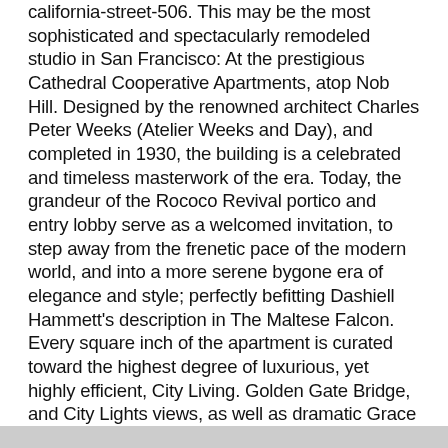california-street-506. This may be the most sophisticated and spectacularly remodeled studio in San Francisco: At the prestigious Cathedral Cooperative Apartments, atop Nob Hill. Designed by the renowned architect Charles Peter Weeks (Atelier Weeks and Day), and completed in 1930, the building is a celebrated and timeless masterwork of the era. Today, the grandeur of the Rococo Revival portico and entry lobby serve as a welcomed invitation, to step away from the frenetic pace of the modern world, and into a more serene bygone era of elegance and style; perfectly befitting Dashiell Hammett's description in The Maltese Falcon. Every square inch of the apartment is curated toward the highest degree of luxurious, yet highly efficient, City Living. Golden Gate Bridge, and City Lights views, as well as dramatic Grace Cathedral views. 24-hour doorman, lovely terrace garden, available parking & storage.